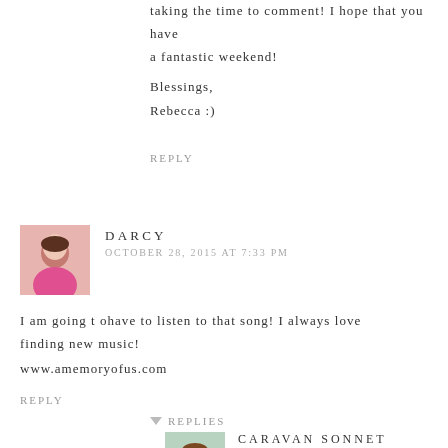taking the time to comment! I hope that you have a fantastic weekend!
Blessings,
Rebecca :)
REPLY
DARCY
OCTOBER 28, 2015 AT 7:33 PM
I am going t ohave to listen to that song! I always love finding new music!
www.amemoryofus.com
REPLY
REPLIES
CARAVAN SONNET
NOVEMBER 3, 2015 AT 5:59 AM